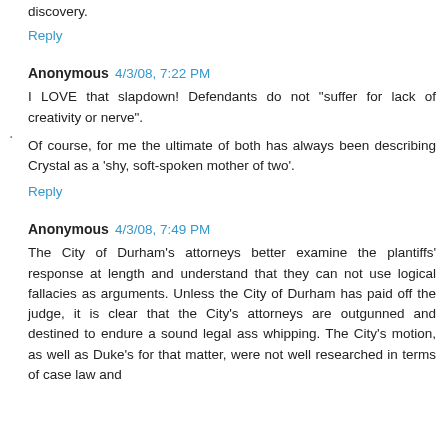discovery.
Reply
Anonymous 4/3/08, 7:22 PM
I LOVE that slapdown! Defendants do not "suffer for lack of creativity or nerve".
Of course, for me the ultimate of both has always been describing Crystal as a 'shy, soft-spoken mother of two'.
Reply
Anonymous 4/3/08, 7:49 PM
The City of Durham's attorneys better examine the plantiffs' response at length and understand that they can not use logical fallacies as arguments. Unless the City of Durham has paid off the judge, it is clear that the City's attorneys are outgunned and destined to endure a sound legal ass whipping. The City's motion, as well as Duke's for that matter, were not well researched in terms of case law and